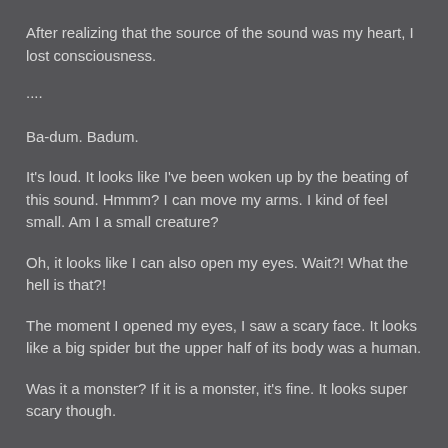After realizing that the source of the sound was my heart, I lost consciousness.
....
Ba-dum. Badum.
It's loud. It looks like I've been woken up by the beating of this sound. Hmmm? I can move my arms. I kind of feel small. Am I a small creature?
Oh, it looks like I can also open my eyes. Wait?! What the hell is that?!
The moment I opened my eyes, I saw a scary face. It looks like a big spider but the upper half of its body was a human.
Was it a monster? If it is a monster, it's fine. It looks super scary though.